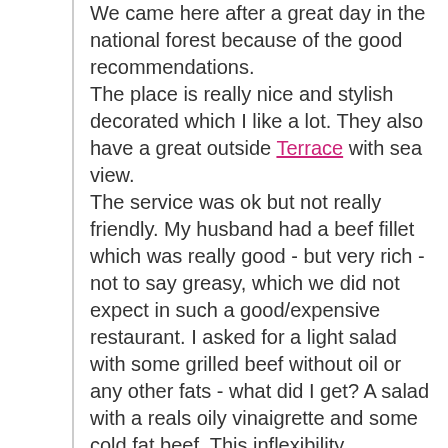We came here after a great day in the national forest because of the good recommendations. The place is really nice and stylish decorated which I like a lot. They also have a great outside Terrace with sea view. The service was ok but not really friendly. My husband had a beef fillet which was really good - but very rich - not to say greasy, which we did not expect in such a good/expensive restaurant. I asked for a light salad with some grilled beef without oil or any other fats - what did I get? A salad with a reals oily vinaigrette and some cold fat beef. This inflexibility surprised me for a good restaurant - as I send it back I received in exchange a bowl of green leaves with some tomatoes and cucumbers (just like thrown into the plate..) - after some more discussions with the service staff the...